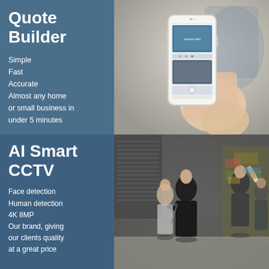[Figure (infographic): Top panel: blue text block on left with 'Quote Builder' title and feature list, right side shows a hand holding a smartphone displaying a security camera app interface, blurred office background]
Quote Builder
Simple
Fast
Accurate
Almost any home or small business in under 5 minutes
[Figure (infographic): Bottom panel: blue text block on left with 'AI Smart CCTV' title and feature list, right side shows street scene with people walking, urban environment with graffiti and shopfronts]
AI Smart CCTV
Face detection
Human detection
4K 8MP
Our brand, giving our clients quality at a great price